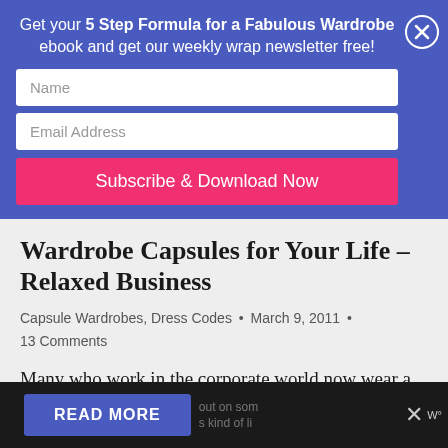Get your 5 Step Formula for a Fabulous Wardrobe ebook and get our weekly wrap newsletter free!
Name
Email Address
Subscribe & Download Now
Wardrobe Capsules for Your Life – Relaxed Business
Capsule Wardrobes, Dress Codes · March 9, 2011 · 13 Comments
Many who work in the corporate world now wear a relaxed business rather than formal business style of dress. Formal business is
READ MORE